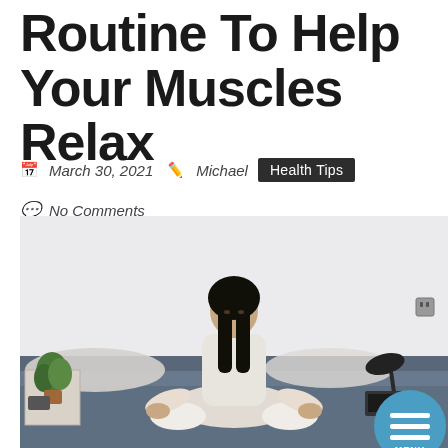Routine To Help Your Muscles Relax
March 30, 2021  Michael  Health Tips
No Comments
[Figure (photo): Woman sitting in lotus meditation pose on a bed, wearing white clothing, with long dark hair, a plant and lamp on a nightstand nearby, blue bedding.]